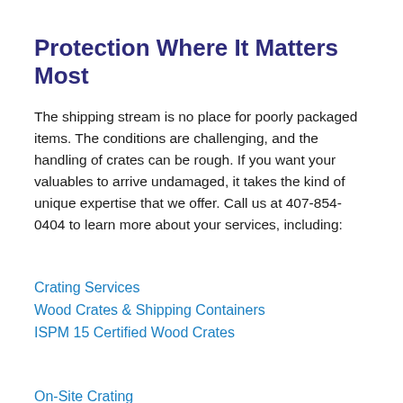Protection Where It Matters Most
The shipping stream is no place for poorly packaged items. The conditions are challenging, and the handling of crates can be rough. If you want your valuables to arrive undamaged, it takes the kind of unique expertise that we offer. Call us at 407-854-0404 to learn more about your services, including:
Crating Services
Wood Crates & Shipping Containers
ISPM 15 Certified Wood Crates
On-Site Crating
Server Rack & Electronics Crating
Museum Crating